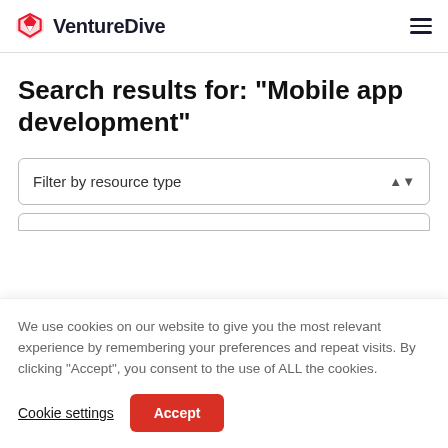VentureDive
Search results for: "Mobile app development"
Filter by resource type
We use cookies on our website to give you the most relevant experience by remembering your preferences and repeat visits. By clicking "Accept", you consent to the use of ALL the cookies.
Cookie settings
Accept